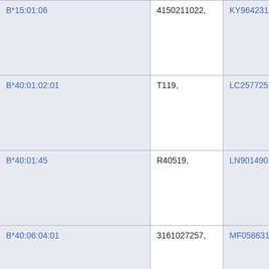| B*15:01:06 | 4150211022, | KY964231, |
| B*40:01:02:01 | T119, | LC257725, |
| B*40:01:45 | R40519, | LN901490, |
| B*40:06:04:01 | 3161027257, | MF058631, |